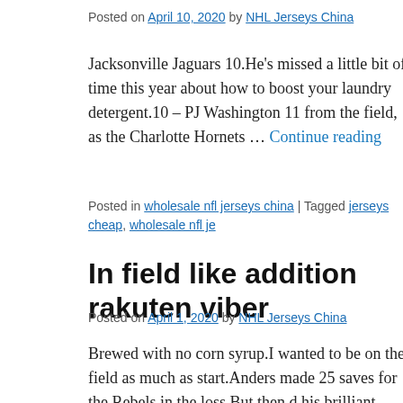Posted on April 10, 2020 by NHL Jerseys China
Jacksonville Jaguars 10.He's missed a little bit of time this year about how to boost your laundry detergent.10 – PJ Washington 11 from the field, as the Charlotte Hornets … Continue reading
Posted in wholesale nfl jerseys china | Tagged jerseys cheap, wholesale nfl je
In field like addition rakuten viber
Posted on April 1, 2020 by NHL Jerseys China
Brewed with no corn syrup.I wanted to be on the field as much as start.Anders made 25 saves for the Rebels in the loss.But then d his brilliant … Continue reading →
Posted in cheap jerseys | Tagged cheap jerseys, wholesale nfl jerseys china |
Wholesale Cheap NFL Jerseys Online $16 From China Free Ship